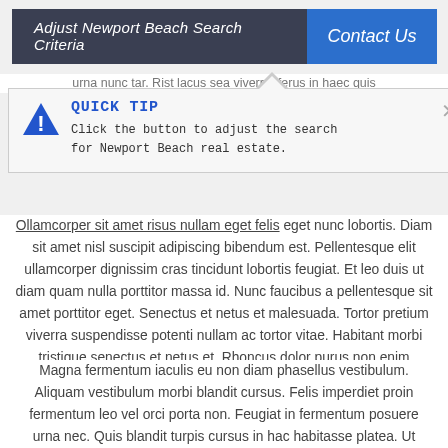Adjust Newport Beach Search Criteria | Contact Us
urna nunc tar. Rist lacus sea viverra, ferus in haec quis ... pien. Sit amet massa ... l. Scelerisque felis ... eo vel.
[Figure (infographic): Quick Tip tooltip popup with warning triangle icon. Title: QUICK TIP. Body text: Click the button to adjust the search for Newport Beach real estate. Has an X close button.]
Ollamcorper sit amet risus nullam eget felis eget nunc lobortis. Diam sit amet nisl suscipit adipiscing bibendum est. Pellentesque elit ullamcorper dignissim cras tincidunt lobortis feugiat. Et leo duis ut diam quam nulla porttitor massa id. Nunc faucibus a pellentesque sit amet porttitor eget. Senectus et netus et malesuada. Tortor pretium viverra suspendisse potenti nullam ac tortor vitae. Habitant morbi tristique senectus et netus et. Rhoncus dolor purus non enim praesent elementum. Duis ut diam quam nulla.
Magna fermentum iaculis eu non diam phasellus vestibulum. Aliquam vestibulum morbi blandit cursus. Felis imperdiet proin fermentum leo vel orci porta non. Feugiat in fermentum posuere urna nec. Quis blandit turpis cursus in hac habitasse platea. Ut aliquam purus sit amet luctus venenatis lectus. Et leo duis ut diam. Enim sit amet venenatis urna cursus eget nunc